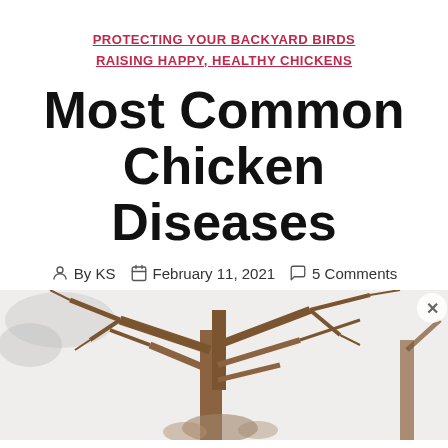PROTECTING YOUR BACKYARD BIRDS
RAISING HAPPY, HEALTHY CHICKENS
Most Common Chicken Diseases
By KS  February 11, 2021  5 Comments
[Figure (photo): Bare winter trees with branches against an overcast sky]
Advertisements
[Figure (screenshot): WooCommerce advertisement banner: How to start selling subscriptions online]